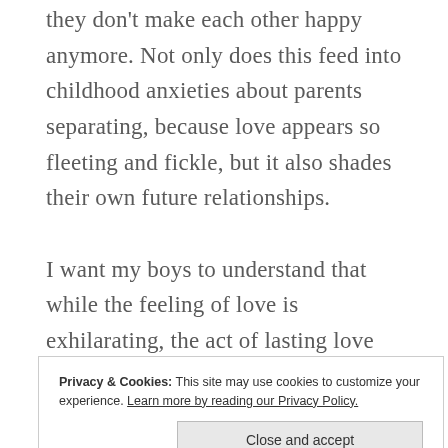they don't make each other happy anymore. Not only does this feed into childhood anxieties about parents separating, because love appears so fleeting and fickle, but it also shades their own future relationships.
I want my boys to understand that while the feeling of love is exhilarating, the act of lasting love and marriage are based on choices made every day and every moment. Choices about the way we speak to each other and about each
Privacy & Cookies: This site may use cookies to customize your experience. Learn more by reading our Privacy Policy.
foundation as this post so beautifully illustrates.